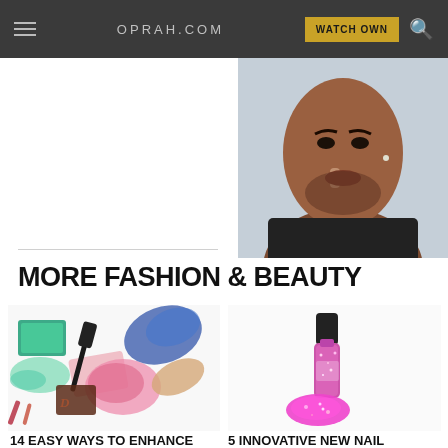OPRAH.COM | WATCH OWN
[Figure (photo): Partial view of a man holding finger to lips in a shushing gesture, against a light background]
MORE FASHION & BEAUTY
[Figure (photo): Colorful makeup products including eyeshadow, mascara, blush, and foundation smears scattered on white background]
14 EASY WAYS TO ENHANCE YOUR EYES
[Figure (photo): Pink nail polish bottle with matching pink glitter nail swatch on white background]
5 INNOVATIVE NEW NAIL POLISHES